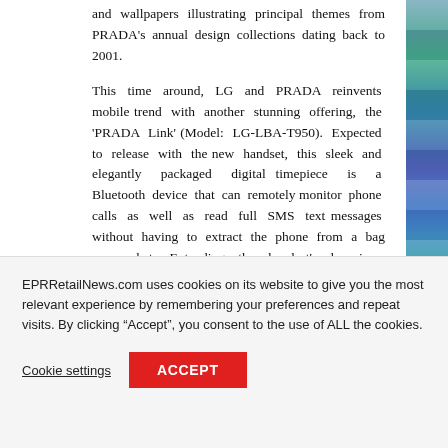and wallpapers illustrating principal themes from PRADA's annual design collections dating back to 2001.
This time around, LG and PRADA reinvents mobile trend with another stunning offering, the 'PRADA Link' (Model: LG-LBA-T950). Expected to release with the new handset, this sleek and elegantly packaged digital timepiece is a Bluetooth device that can remotely monitor phone calls as well as read full SMS text messages without having to extract the phone from a bag or pocket. Extending the handset's luxurious exterior beyond the device itself is a new wearable type … the PRADA Link…
EPRRetailNews.com uses cookies on its website to give you the most relevant experience by remembering your preferences and repeat visits. By clicking “Accept”, you consent to the use of ALL the cookies.
Cookie settings
ACCEPT